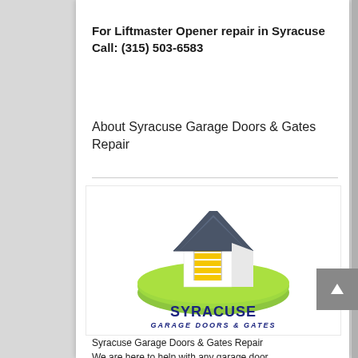For Liftmaster Opener repair in Syracuse Call: (315) 503-6583
About Syracuse Garage Doors & Gates Repair
[Figure (logo): Syracuse Garage Doors & Gates logo featuring a 3D house icon on a green disc with the text 'SYRACUSE GARAGE DOORS & GATES' in dark blue lettering.]
Syracuse Garage Doors & Gates Repair
We are here to help with any garage door